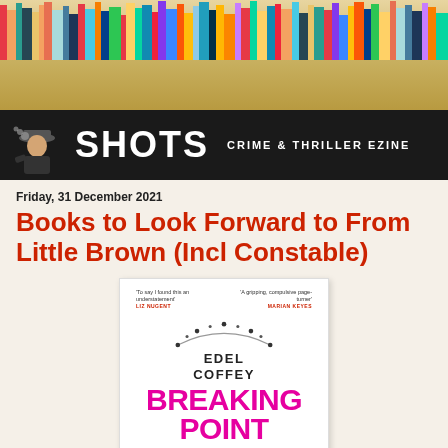[Figure (photo): Colorful bookshelf banner image showing rows of books with a beige/tan shelf below]
[Figure (logo): Shots Crime & Thriller Ezine logo — black banner with detective figure icon, SHOTS in large white bold text, and CRIME & THRILLER EZINE subtitle]
Friday, 31 December 2021
Books to Look Forward to From Little Brown (Incl Constable)
[Figure (photo): Book cover of 'Breaking Point' by Edel Coffey — white cover with necklace graphic, author name, title in hot pink, and tagline 'ONE MISTAKE COULD COST HER EVERYTHING'. Blurbs from Liz Nugent and Marian Keyes.]